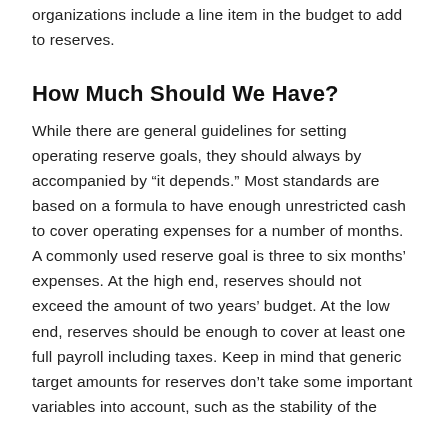organizations include a line item in the budget to add to reserves.
How Much Should We Have?
While there are general guidelines for setting operating reserve goals, they should always by accompanied by “it depends.” Most standards are based on a formula to have enough unrestricted cash to cover operating expenses for a number of months. A commonly used reserve goal is three to six months’ expenses. At the high end, reserves should not exceed the amount of two years’ budget. At the low end, reserves should be enough to cover at least one full payroll including taxes. Keep in mind that generic target amounts for reserves don’t take some important variables into account, such as the stability of the